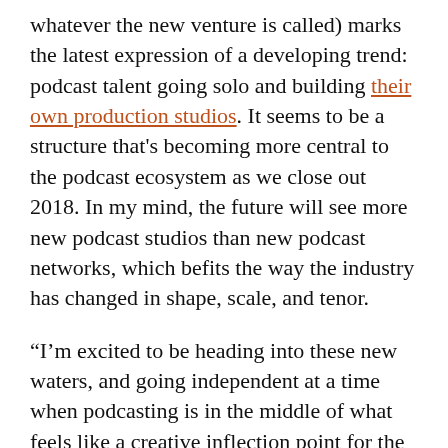whatever the new venture is called) marks the latest expression of a developing trend: podcast talent going solo and building their own production studios. It seems to be a structure that's becoming more central to the podcast ecosystem as we close out 2018. In my mind, the future will see more new podcast studios than new podcast networks, which befits the way the industry has changed in shape, scale, and tenor.
“I’m excited to be heading into these new waters, and going independent at a time when podcasting is in the middle of what feels like a creative inflection point for the medium,” Neyfakh wrote me. “There are going to be so many good podcasts coming out over the next few years! Andrew, Madeline, and I feel incredibly lucky to have a